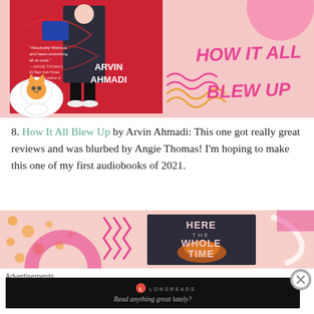[Figure (illustration): Book cover for 'How It All Blew Up' by Arvin Ahmadi with decorative pink background, illustrated cat, and bold pink title text]
8. How It All Blew Up by Arvin Ahmadi: This one got really great reviews and was blurbed by Angie Thomas! I'm hoping to make this one of my first audiobooks of 2021.
[Figure (illustration): Book cover for 'Here the Whole Time' partially visible, with orange dots and pink zigzag decorative elements on a pink background]
Advertisements
[Figure (screenshot): Longreads advertisement banner with dark background, Longreads logo and tagline 'Read anything great lately?']